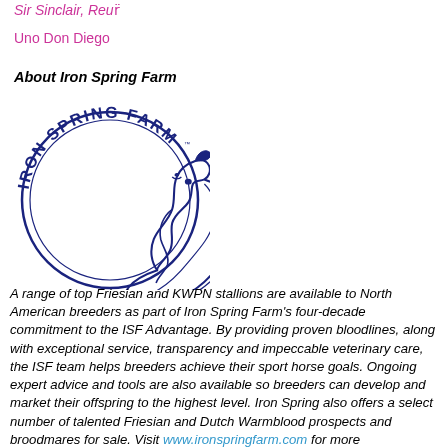Sir Sinclair, Reùr
Uno Don Diego
About Iron Spring Farm
[Figure (logo): Iron Spring Farm circular logo featuring a horse head with flowing mane inside a circle with the text 'IRON SPRING FARM' arched around the top]
A range of top Friesian and KWPN stallions are available to North American breeders as part of Iron Spring Farm's four-decade commitment to the ISF Advantage. By providing proven bloodlines, along with exceptional service, transparency and impeccable veterinary care, the ISF team helps breeders achieve their sport horse goals. Ongoing expert advice and tools are also available so breeders can develop and market their offspring to the highest level. Iron Spring also offers a select number of talented Friesian and Dutch Warmblood prospects and broodmares for sale. Visit www.ironspringfarm.com for more